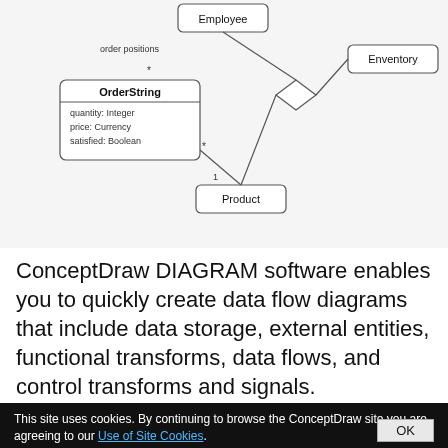[Figure (schematic): UML class/entity diagram showing OrderString class with attributes (quantity: Integer, price: Currency, satisfied: Boolean), connected to Product and Employee entities, with a diamond shape connecting to Enventory. 'order positions' label near OrderString.]
ConceptDraw DIAGRAM software enables you to quickly create data flow diagrams that include data storage, external entities, functional transforms, data flows, and control transforms and signals.
This site uses cookies. By continuing to browse the ConceptDraw site you are agreeing to our Use of Site Cookies.